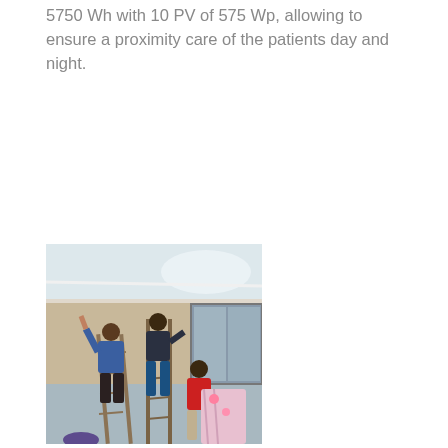5750 Wh with 10 PV of 575 Wp, allowing to ensure a proximity care of the patients day and night.
[Figure (photo): Workers on ladders installing electrical wiring on the wall inside a building, with a person in a red shirt standing on the ground observing. Indoor setting, walls painted beige and light blue, ceiling visible with fluorescent lighting.]